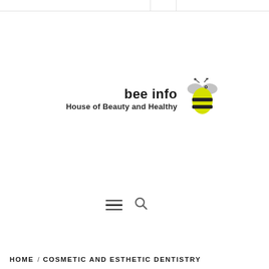[Figure (logo): bee info logo with bee illustration and tagline 'House of Beauty and Healthy']
[Figure (infographic): Hamburger menu icon and search icon]
HOME / COSMETIC AND ESTHETIC DENTISTRY